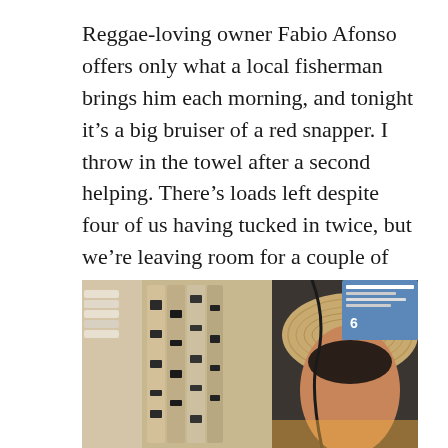Reggae-loving owner Fabio Afonso offers only what a local fisherman brings him each morning, and tonight it's a big bruiser of a red snapper. I throw in the towel after a second helping. There's loads left despite four of us having tucked in twice, but we're leaving room for a couple of Fabio's mojitos – he serves more of these Cuban highballs than anywhere else on the island.
[Figure (photo): Photo of a man wearing a straw hat, seen from behind/side, with shelving and stacked items visible in the background in what appears to be a restaurant or bar setting.]